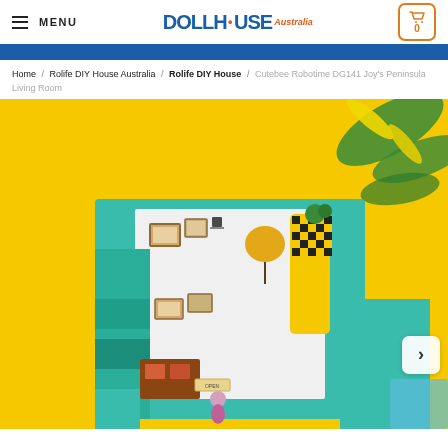MENU | DOLLHOUSE Australia | Cart 0
Home / Rolife DIY House Australia / Rolife DIY House / Cutebee Robotime DG141 Joy's Peninsula Living Room
[Figure (photo): Product photo of a miniature doll house kit called Joy's Peninsula Living Room (DG141), showing a colorful miniature room with teal/turquoise walls, a black and yellow checkered arch, small furniture, framed pictures on walls, plants, and various accessories. Background is bright yellow with tropical leaves visible. A next arrow button is shown on the right side of the image.]